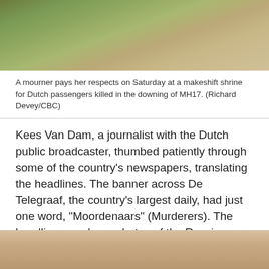[Figure (photo): Photo of flowers and a mourner at a makeshift shrine for Dutch passengers killed in the downing of MH17]
A mourner pays her respects on Saturday at a makeshift shrine for Dutch passengers killed in the downing of MH17. (Richard Devey/CBC)
Kees Van Dam, a journalist with the Dutch public broadcaster, thumbed patiently through some of the country's newspapers, translating the headlines. The banner across De Telegraaf, the country's largest daily, had just one word, "Moordenaars" (Murderers). The headline ran above photos of the Russian-backed rebels who control the region where the plane went down and who are widely suspected of being responsible for bringing down the airliner.
[Figure (photo): Close-up photo of a person's face with blonde hair]